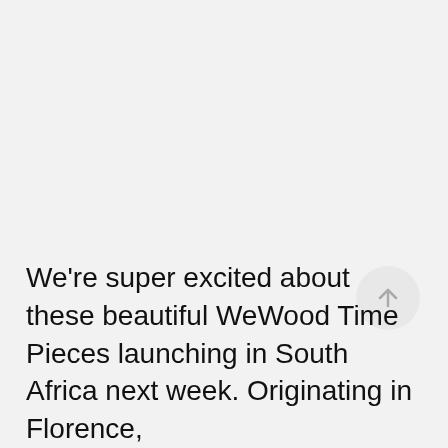[Figure (other): Scroll-to-top circular button with upward arrow icon, positioned in lower right area]
We're super excited about these beautiful WeWood Time Pieces launching in South Africa next week. Originating in Florence,